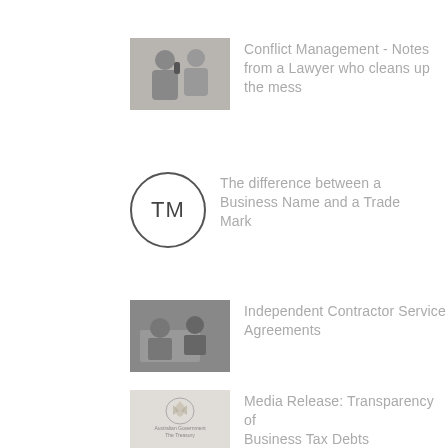[Figure (photo): Black and white photo of two people, conflict management]
Conflict Management - Notes from a Lawyer who cleans up the mess
[Figure (illustration): TM trademark symbol inside a circle]
The difference between a Business Name and a Trade Mark
[Figure (photo): Photo of people at a table, contractor service]
Independent Contractor Service Agreements
[Figure (logo): Australian Government The Treasury logo]
Media Release: Transparency of Business Tax Debts